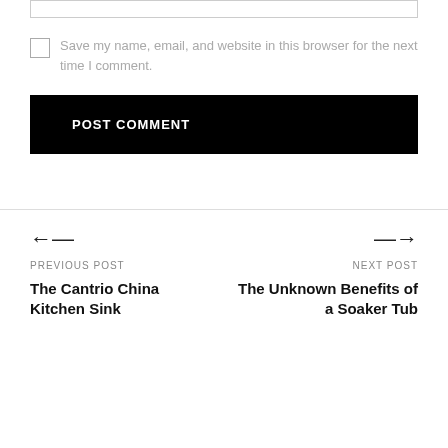[Figure (other): Text input bar at top of page]
Save my name, email, and website in this browser for the next time I comment.
POST COMMENT
PREVIOUS POST
The Cantrio China Kitchen Sink
NEXT POST
The Unknown Benefits of a Soaker Tub